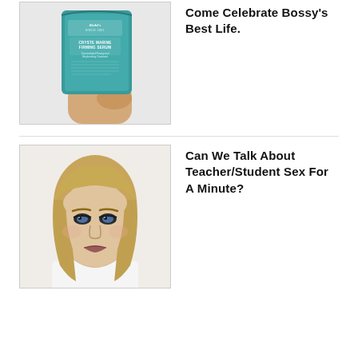[Figure (photo): Hand holding a teal Kiehl's Cryste Marine Firming Serum packet]
Come Celebrate Bossy's Best Life.
[Figure (photo): Mugshot-style photo of a young blonde woman looking at the camera]
Can We Talk About Teacher/Student Sex For A Minute?